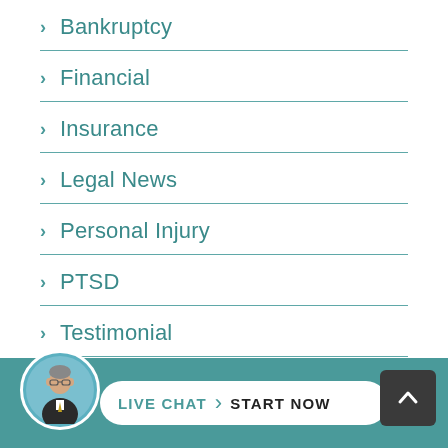Bankruptcy
Financial
Insurance
Legal News
Personal Injury
PTSD
Testimonial
Workers' Compensation
[Figure (other): Live chat footer bar with attorney avatar photo, LIVE CHAT | START NOW button, and scroll-to-top arrow button]